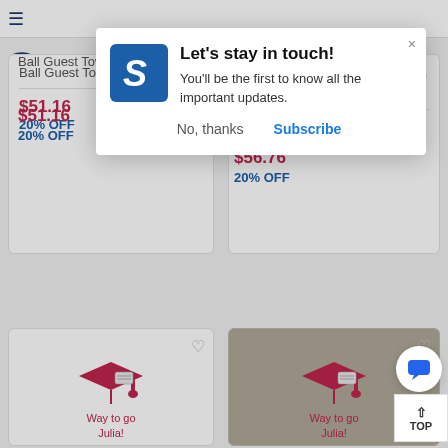[Figure (screenshot): Website screenshot showing a modal popup overlay on a product listing page for personalized guest towels. The modal says 'Let's stay in touch!' with options 'No, thanks' and 'Subscribe'. Behind the modal are product cards showing Ball Guest Towels at $51.16 (20% OFF) and Diploma and Mortar Board Linen Like Guest Towels at $56.76 (20% OFF), along with bottom row product cards with graduation cap imagery.]